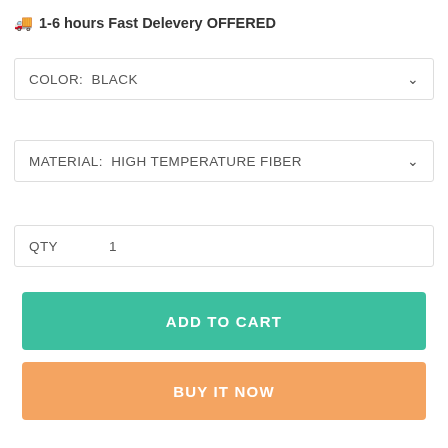🚚 1-6 hours Fast Delevery OFFERED
COLOR:  BLACK
MATERIAL:  HIGH TEMPERATURE FIBER
QTY    1
ADD TO CART
BUY IT NOW